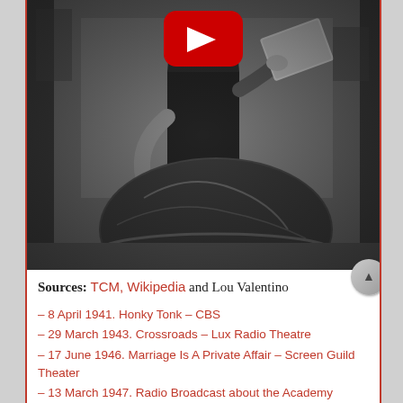[Figure (photo): Black and white photograph of a person standing next to a large spherical or dome-shaped object, holding what appears to be a book or folder. A YouTube play button overlay is visible at the top center of the image.]
Sources: TCM, Wikipedia and Lou Valentino
– 8 April 1941. Honky Tonk – CBS
– 29 March 1943. Crossroads – Lux Radio Theatre
– 17 June 1946. Marriage Is A Private Affair – Screen Guild Theater
– 13 March 1947. Radio Broadcast about the Academy Awards Ceremony